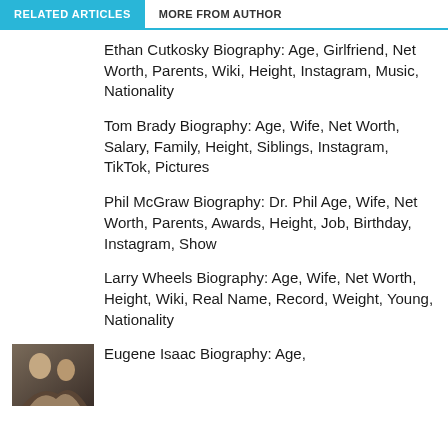RELATED ARTICLES | MORE FROM AUTHOR
Ethan Cutkosky Biography: Age, Girlfriend, Net Worth, Parents, Wiki, Height, Instagram, Music, Nationality
Tom Brady Biography: Age, Wife, Net Worth, Salary, Family, Height, Siblings, Instagram, TikTok, Pictures
Phil McGraw Biography: Dr. Phil Age, Wife, Net Worth, Parents, Awards, Height, Job, Birthday, Instagram, Show
Larry Wheels Biography: Age, Wife, Net Worth, Height, Wiki, Real Name, Record, Weight, Young, Nationality
Eugene Isaac Biography: Age,